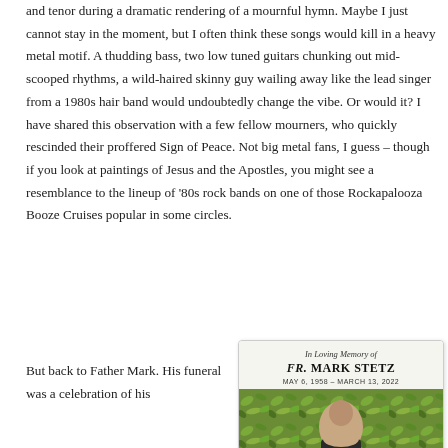and tenor during a dramatic rendering of a mournful hymn. Maybe I just cannot stay in the moment, but I often think these songs would kill in a heavy metal motif. A thudding bass, two low tuned guitars chunking out mid-scooped rhythms, a wild-haired skinny guy wailing away like the lead singer from a 1980s hair band would undoubtedly change the vibe. Or would it? I have shared this observation with a few fellow mourners, who quickly rescinded their proffered Sign of Peace. Not big metal fans, I guess – though if you look at paintings of Jesus and the Apostles, you might see a resemblance to the lineup of '80s rock bands on one of those Rockapalooza Booze Cruises popular in some circles.
But back to Father Mark. His funeral was a celebration of his
[Figure (photo): Memorial card for Fr. Mark Stetz, reading 'In Loving Memory of FR. MARK STETZ MAY 6, 1958 - MARCH 13, 2022' with a photo of the priest against a green leafy background.]